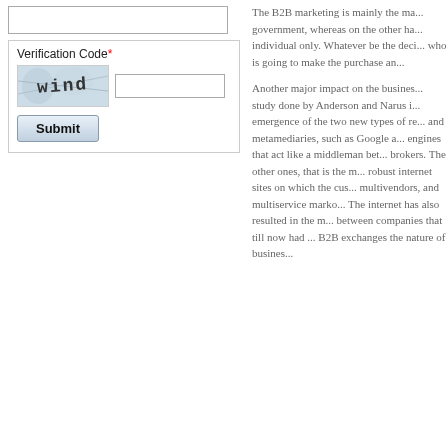[Figure (screenshot): A web form with a textarea, a CAPTCHA verification code field showing 'wind' text in a distorted image, an input box for entering the code, and a Submit button. The form has a border around the verification code section.]
The B2B marketing is mainly the ma... government, whereas on the other ha... individual only. Whatever be the deci... who is going to make the purchase an...
Another major impact on the busines... study done by Anderson and Narus i... emergence of the two new types of re... and metamediaries, such as Google a... engines that act like a middleman bet... brokers. The other ones, that is the m... robust internet sites on which the cus... multivendors, and multiservice marko... The internet has also resulted in the m... between companies that till now had ... B2B exchanges the nature of busines...